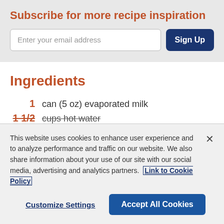Subscribe for more recipe inspiration
Enter your email address
Ingredients
1   can (5 oz) evaporated milk
1 1/2   cups hot water
This website uses cookies to enhance user experience and to analyze performance and traffic on our website. We also share information about your use of our site with our social media, advertising and analytics partners. Link to Cookie Policy
Customize Settings
Accept All Cookies